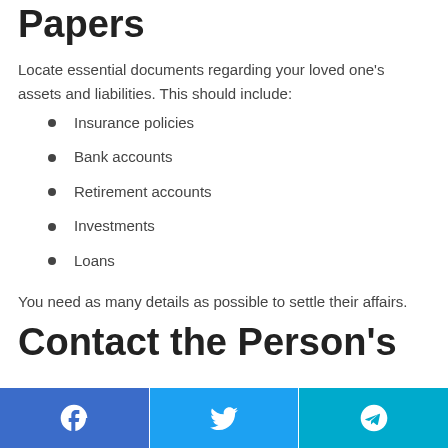Papers
Locate essential documents regarding your loved one’s assets and liabilities. This should include:
Insurance policies
Bank accounts
Retirement accounts
Investments
Loans
You need as many details as possible to settle their affairs.
Contact the Person’s
[Figure (other): Social media share buttons bar: Facebook (blue), Twitter (light blue), Telegram (teal)]